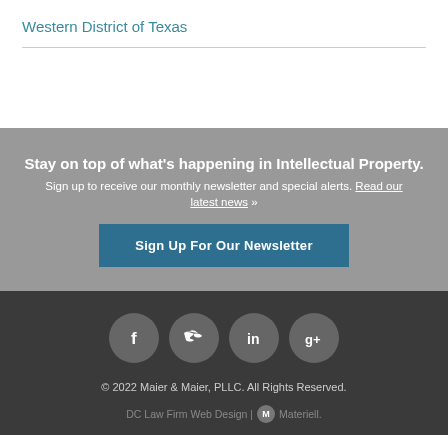Western District of Texas
Stay on top of what's happening in Intellectual Property. Sign up to receive our monthly newsletter and special alerts. Read our latest news »
Sign Up For Our Newsletter
[Figure (infographic): Social media icons: Facebook, Twitter, LinkedIn, Google+]
© 2022 Maier & Maier, PLLC. All Rights Reserved.
DC Law Firm Web Design | Materiell.